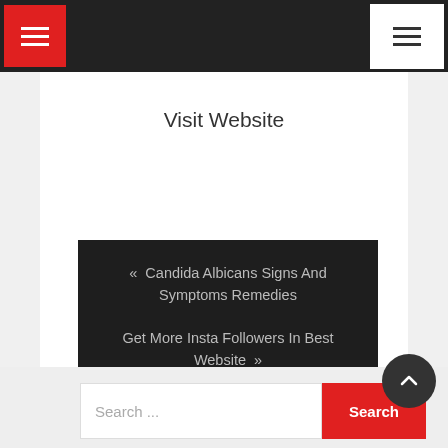Navigation bar with hamburger menus
Visit Website
« Candida Albicans Signs And Symptoms Remedies
Get More Insta Followers In Best Website »
Search ...
Search